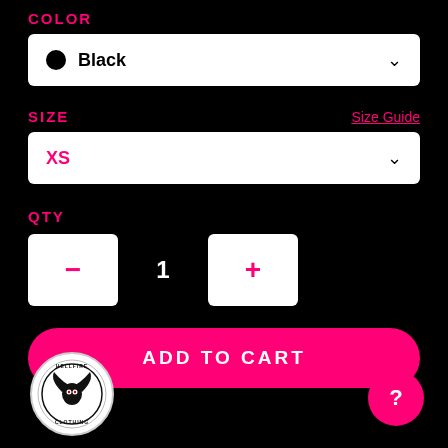COLOR
Black
SIZE
Size Guide
XS
QTY
− 1 +
ADD TO CART
[Figure (logo): circular logo with dark bird/bat emblem and text around the edge]
?